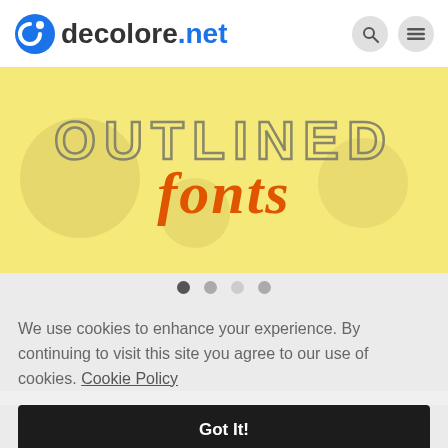decolore.net
[Figure (illustration): Yellow-tinted banner with 'OUTLINED fonts' text — 'OUTLINED' in outlined/hollow style letters and 'fonts' in orange italic script, over a food background]
We use cookies to enhance your experience. By continuing to visit this site you agree to our use of cookies. Cookie Policy
Got It!